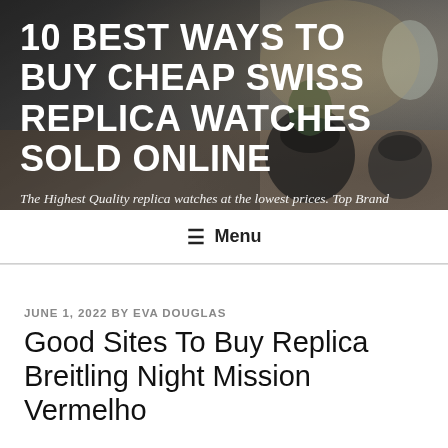[Figure (photo): Hero banner image with blurred indoor background showing plants and decorative items on a wooden table, overlaid with white text title and subtitle.]
10 BEST WAYS TO BUY CHEAP SWISS REPLICA WATCHES SOLD ONLINE
The Highest Quality replica watches at the lowest prices. Top Brand replica watch for sale. Buy rolex replica with the best cheap price. On Top rolex knockoff under $29.
≡ Menu
JUNE 1, 2022 BY EVA DOUGLAS
Good Sites To Buy Replica Breitling Night Mission Vermelho
At the end of spring, I think there is no winter winter, but spring is very satisfied.